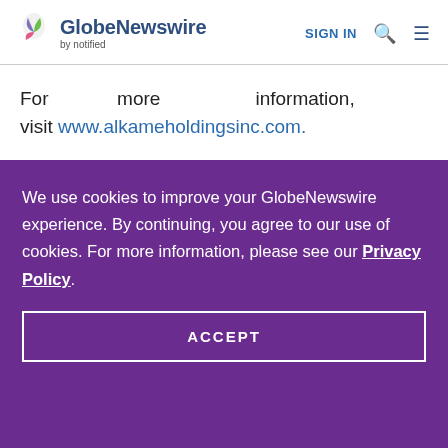GlobeNewswire by notified | SIGN IN
For more information, visit www.alkameholdingsinc.com.
We use cookies to improve your GlobeNewswire experience. By continuing, you agree to our use of cookies. For more information, please see our Privacy Policy.
ACCEPT